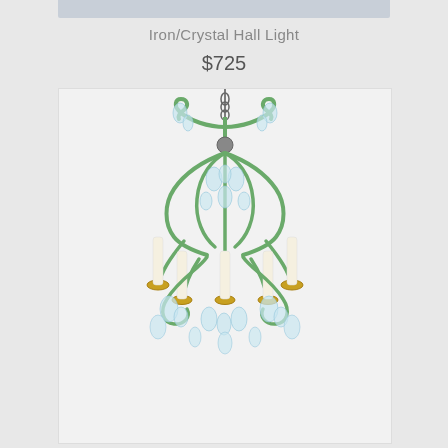Iron/Crystal Hall Light
$725
[Figure (photo): A green iron and crystal chandelier hall light with five candle-style arms, decorative crystal drops hanging from scrolled green iron frame, with brass candle holders, suspended by a chain.]